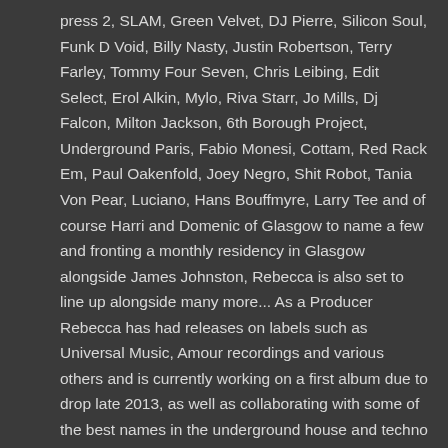press 2, SLAM, Green Velvet, DJ Pierre, Silicon Soul, Funk D Void, Billy Nasty, Justin Robertson, Terry Farley, Tommy Four Seven, Chris Leibing, Edit Select, Erol Alkin, Mylo, Riva Starr, Jo Mills, Dj Falcon, Milton Jackson, 6th Borough Project, Underground Paris, Fabio Monesi, Cottam, Red Rack Em, Paul Oakenfold, Joey Negro, Shit Robot, Tania Von Pear, Luciano, Hans Bouffmyre, Larry Tee and of course Harri and Domenic of Glasgow to name a few and fronting a monthly residency in Glasgow alongside James Johnston, Rebecca is also set to line up alongside many more... As a Producer Rebecca has had releases on labels such as Universal Music, Amour recordings and various others and is currently working on a first album due to drop late 2013, as well as collaborating with some of the best names in the underground house and techno scene as well as working on various live Jazz projects under her second alias which will see her name grow even further. Rebecca will be launching her own label in 2014 which will see the collaboration of